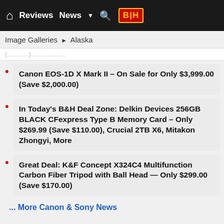🏠 Reviews  News ▼ 🔍 B|H
Image Galleries ▶ Alaska
Canon EOS-1D X Mark II – On Sale for Only $3,999.00 (Save $2,000.00)
In Today's B&H Deal Zone: Delkin Devices 256GB BLACK CFexpress Type B Memory Card – Only $269.99 (Save $110.00), Crucial 2TB X6, Mitakon Zhongyi, More
Great Deal: K&F Concept X324C4 Multifunction Carbon Fiber Tripod with Ball Head — Only $299.00 (Save $170.00)
... More Canon & Sony News